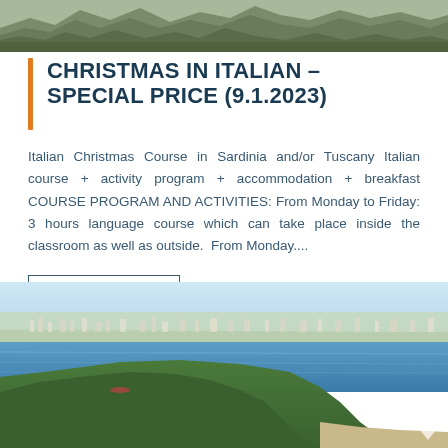[Figure (photo): Rocky landscape photo at the top of the page]
CHRISTMAS IN ITALIAN - SPECIAL PRICE (9.1.2023)
Italian Christmas Course in Sardinia and/or Tuscany Italian course + activity program + accommodation + breakfast COURSE PROGRAM AND ACTIVITIES: From Monday to Friday: 3 hours language course which can take place inside the classroom as well as outside.  From Monday....
Read all about it
[Figure (photo): Aerial coastal landscape photo showing blue sea, green hillside, and town in background]